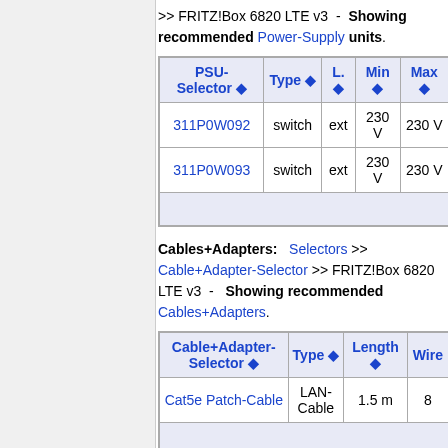>> FRITZ!Box 6820 LTE v3  -  Showing recommended Power-Supply units.
| PSU-Selector | Type | L. | Min | Max |
| --- | --- | --- | --- | --- |
| 311P0W092 | switch | ext | 230 V | 230 V |
| 311P0W093 | switch | ext | 230 V | 230 V |
|  |  |  |  |  |
Cables+Adapters:  Selectors >> Cable+Adapter-Selector >> FRITZ!Box 6820 LTE v3  -  Showing recommended Cables+Adapters.
| Cable+Adapter-Selector | Type | Length | Wire |
| --- | --- | --- | --- |
| Cat5e Patch-Cable | LAN-Cable | 1.5 m | 8 |
|  |  |  |  |
Characteristics